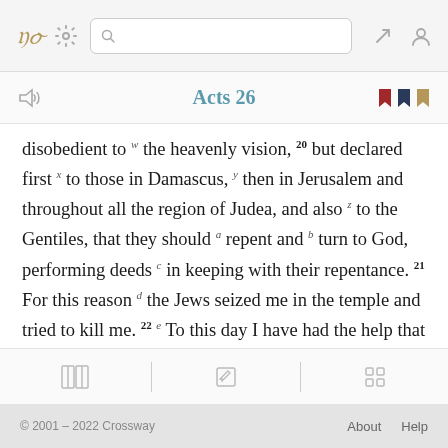ESV | Settings | Search | Expand | Profile
Acts 26
disobedient to w the heavenly vision, 20 but declared first x to those in Damascus, y then in Jerusalem and throughout all the region of Judea, and also z to the Gentiles, that they should a repent and b turn to God, performing deeds c in keeping with their repentance. 21 For this reason d the Jews seized me in the temple and tried to kill me. 22 e To this day I have had the help that comes from God, and so f I stand here testifying both to small and great, saying nothing but what g the
© 2001 – 2022 Crossway    About    Help